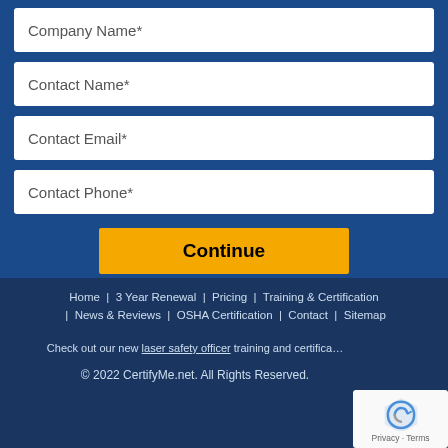Company Name*
Contact Name*
Contact Email*
Contact Phone*
Continue
Home | 3 Year Renewal | Pricing | Training & Certification | News & Reviews | OSHA Certification | Contact | Sitemap
Check out our new laser safety officer training and certifica…
© 2022 CertifyMe.net. All Rights Reserved.
[Figure (other): reCAPTCHA badge with Privacy and Terms links]